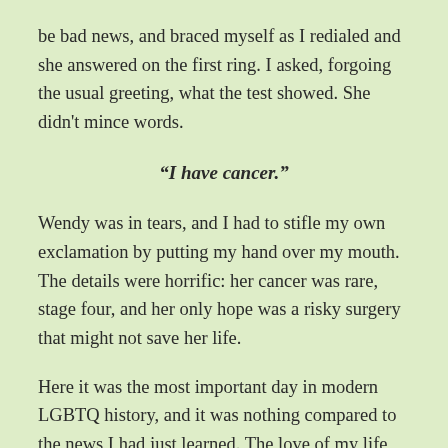be bad news, and braced myself as I redialed and she answered on the first ring. I asked, forgoing the usual greeting, what the test showed. She didn't mince words.
“I have cancer.”
Wendy was in tears, and I had to stifle my own exclamation by putting my hand over my mouth. The details were horrific: her cancer was rare, stage four, and her only hope was a risky surgery that might not save her life.
Here it was the most important day in modern LGBTQ history, and it was nothing compared to the news I had just learned. The love of my life was dying.